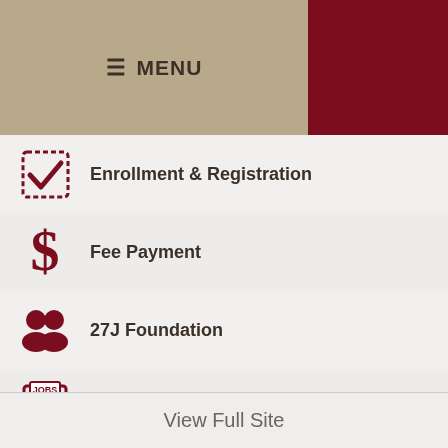≡ MENU
Enrollment & Registration
Fee Payment
27J Foundation
Work at 27J
Home » Homepage
View Full Site